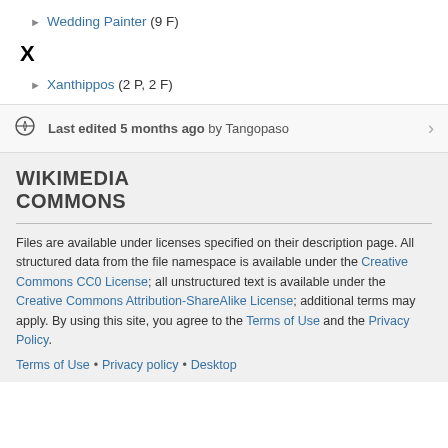▶ Wedding Painter (9 F)
X
▶ Xanthippos (2 P, 2 F)
Last edited 5 months ago by Tangopaso
[Figure (logo): Wikimedia Commons logo text]
Files are available under licenses specified on their description page. All structured data from the file namespace is available under the Creative Commons CC0 License; all unstructured text is available under the Creative Commons Attribution-ShareAlike License; additional terms may apply. By using this site, you agree to the Terms of Use and the Privacy Policy.
Terms of Use • Privacy policy • Desktop